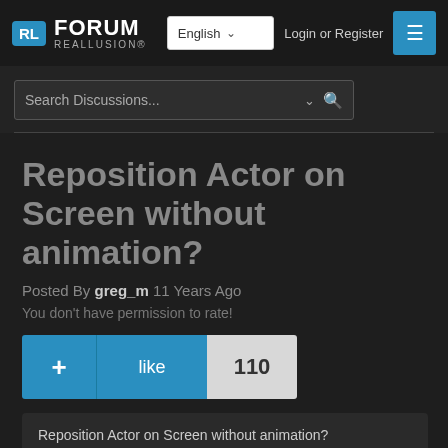RL FORUM REALLUSION
Search Discussions...
Reposition Actor on Screen without animation?
Posted By greg_m 11 Years Ago
You don't have permission to rate!
+ like 110
Reposition Actor on Screen without animation?